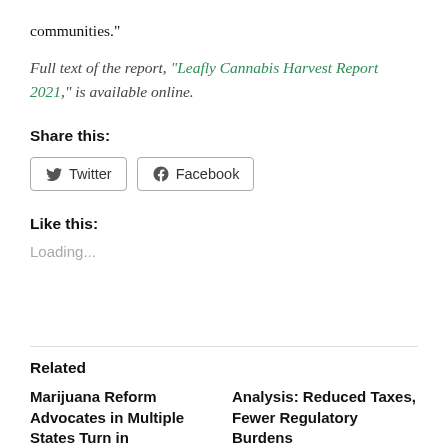communities."
Full text of the report, “Leafly Cannabis Harvest Report 2021,” is available online.
Share this:
[Figure (other): Twitter and Facebook share buttons]
Like this:
Loading...
Related
Marijuana Reform Advocates in Multiple States Turn in
Analysis: Reduced Taxes, Fewer Regulatory Burdens